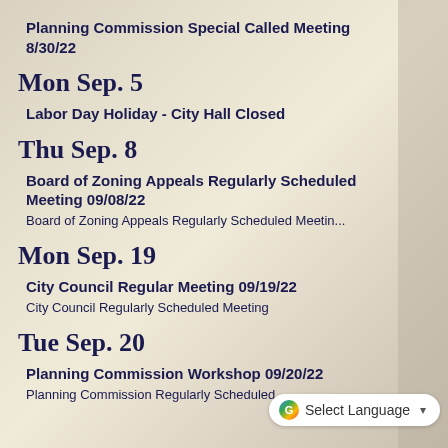Planning Commission Special Called Meeting 8/30/22
Mon Sep. 5
Labor Day Holiday - City Hall Closed
Thu Sep. 8
Board of Zoning Appeals Regularly Scheduled Meeting 09/08/22
Board of Zoning Appeals Regularly Scheduled Meetin...
Mon Sep. 19
City Council Regular Meeting 09/19/22
City Council Regularly Scheduled Meeting
Tue Sep. 20
Planning Commission Workshop 09/20/22
Planning Commission Regularly Scheduled